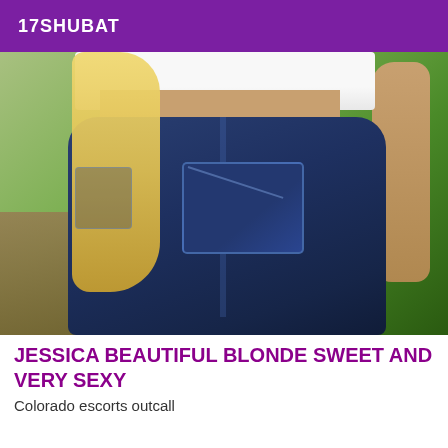17SHUBAT
[Figure (photo): A person from behind wearing tight dark blue jeans and a white crop top, with long blonde hair, photographed outdoors with greenery in the background.]
JESSICA BEAUTIFUL BLONDE SWEET AND VERY SEXY
Colorado escorts outcall